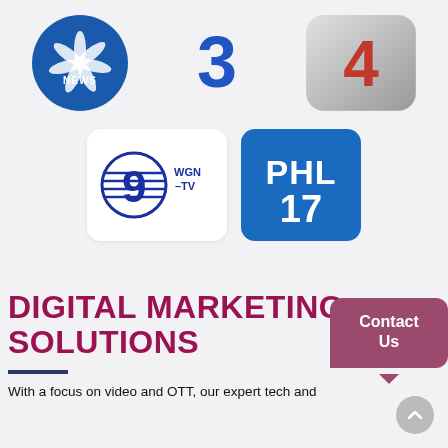[Figure (logo): Row of TV network logos: NBC News (blue circle), Channel 3 (blue swoosh), Channel 4 (gray rounded square)]
[Figure (logo): Row of TV network logos: WGN-TV Channel 9 (white rounded rectangle with globe 9), PHL 17 (blue rounded rectangle)]
DIGITAL MARKETING SOLUTIONS
With a focus on video and OTT, our expert tech and
[Figure (other): Contact Us speech bubble button in mauve/dark pink color]